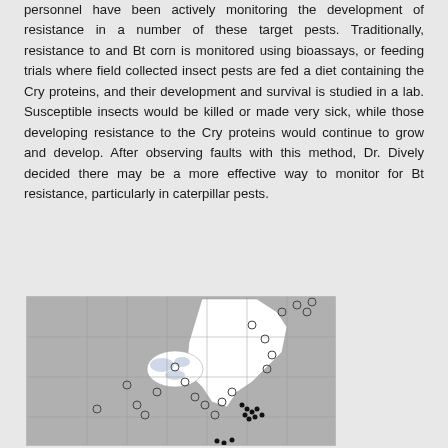personnel have been actively monitoring the development of resistance in a number of these target pests. Traditionally, resistance to and Bt corn is monitored using bioassays, or feeding trials where field collected insect pests are fed a diet containing the Cry proteins, and their development and survival is studied in a lab. Susceptible insects would be killed or made very sick, while those developing resistance to the Cry proteins would continue to grow and develop. After observing faults with this method, Dr. Dively decided there may be a more effective way to monitor for Bt resistance, particularly in caterpillar pests.
[Figure (map): A map of the eastern United States showing sampling locations marked with open circles and filled black dots, indicating collection sites for insect pest monitoring. States in the northeast and mid-atlantic region are highlighted with white/light fill while surrounding states are gray.]